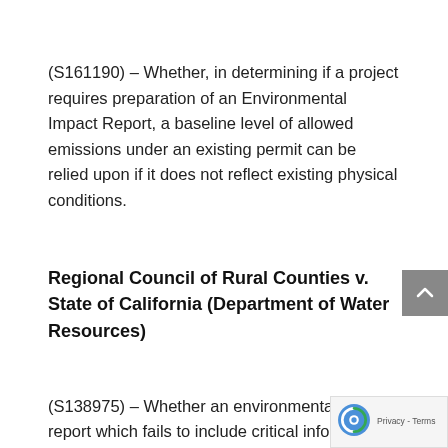(S161190) – Whether, in determining if a project requires preparation of an Environmental Impact Report, a baseline level of allowed emissions under an existing permit can be relied upon if it does not reflect existing physical conditions.
Regional Council of Rural Counties v. State of California (Department of Water Resources)
(S138975) – Whether an environmental impact report which fails to include critical information